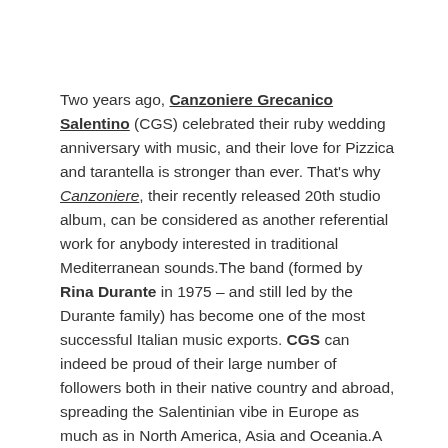Two years ago, Canzoniere Grecanico Salentino (CGS) celebrated their ruby wedding anniversary with music, and their love for Pizzica and tarantella is stronger than ever. That's why Canzoniere, their recently released 20th studio album, can be considered as another referential work for anybody interested in traditional Mediterranean sounds.The band (formed by Rina Durante in 1975 – and still led by the Durante family) has become one of the most successful Italian music exports. CGS can indeed be proud of their large number of followers both in their native country and abroad, spreading the Salentinian vibe in Europe as much as in North America, Asia and Oceania.A few weeks ago, just after the publication of Canzoniere, we met up with Mauro Durante at WOMEX in Katowice and had a brief but interesting chat about the present days of CGS, which are spent on the